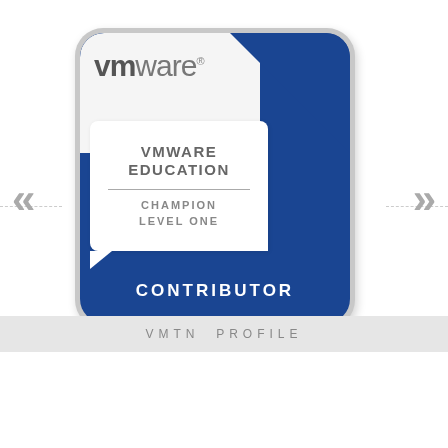[Figure (logo): VMware Education Champion Level One Contributor badge. A rounded square badge with blue and light gray background. The VMware logo appears in the top left. A white speech-bubble card contains 'VMWARE EDUCATION' in bold gray letters, a horizontal divider, and 'CHAMPION LEVEL ONE' below. The bottom blue section shows 'CONTRIBUTOR' in white bold letters. Navigation arrows (chevrons) appear on the left and right sides. A 'VMTN PROFILE' bar appears at the bottom.]
VMTN PROFILE